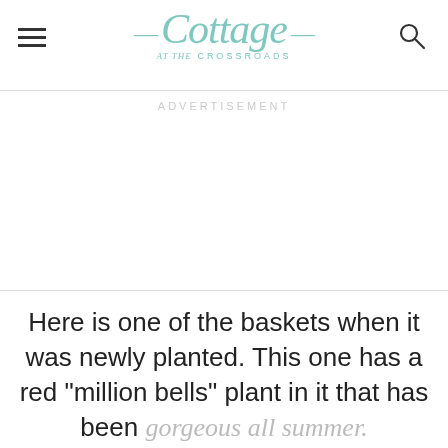Cottage at the Crossroads
ADVERTISEMENT
Here is one of the baskets when it was newly planted. This one has a red "million bells" plant in it that has been gorgeous all summer.